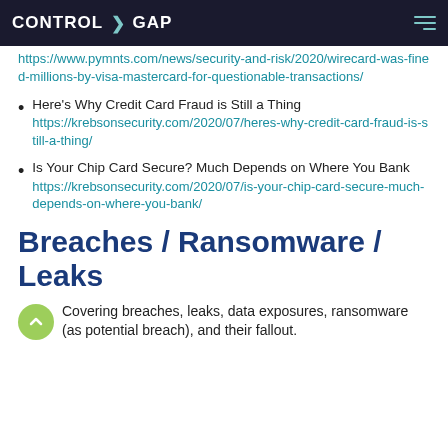CONTROL > GAP
https://www.pymnts.com/news/security-and-risk/2020/wirecard-was-fined-millions-by-visa-mastercard-for-questionable-transactions/
Here's Why Credit Card Fraud is Still a Thing https://krebsonsecurity.com/2020/07/heres-why-credit-card-fraud-is-still-a-thing/
Is Your Chip Card Secure? Much Depends on Where You Bank https://krebsonsecurity.com/2020/07/is-your-chip-card-secure-much-depends-on-where-you-bank/
Breaches / Ransomware / Leaks
Covering breaches, leaks, data exposures, ransomware (as potential breach), and their fallout.